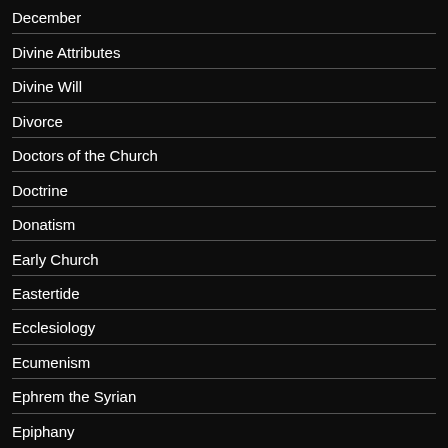December
Divine Attributes
Divine Will
Divorce
Doctors of the Church
Doctrine
Donatism
Early Church
Eastertide
Ecclesiology
Ecumenism
Ephrem the Syrian
Epiphany